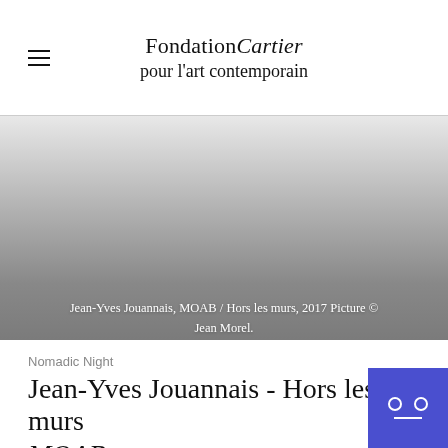Fondation Cartier pour l'art contemporain
[Figure (photo): Grayscale hero image with gradient overlay, caption reads: Jean-Yves Jouannais, MOAB / Hors les murs, 2017 Picture © Jean Morel.]
Jean-Yves Jouannais, MOAB / Hors les murs, 2017 Picture © Jean Morel.
Nomadic Night
Jean-Yves Jouannais - Hors les murs MOAB
Friday 29 september 2017